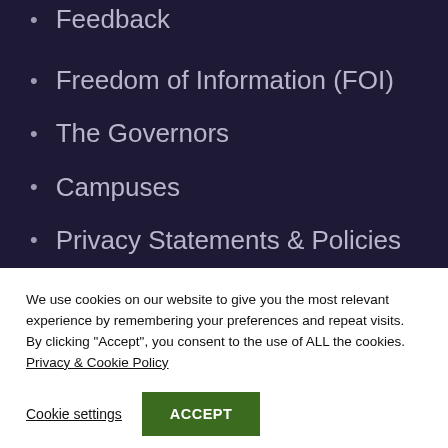Feedback
Freedom of Information (FOI)
The Governors
Campuses
Privacy Statements & Policies
We use cookies on our website to give you the most relevant experience by remembering your preferences and repeat visits. By clicking “Accept”, you consent to the use of ALL the cookies. Privacy & Cookie Policy
Cookie settings  ACCEPT